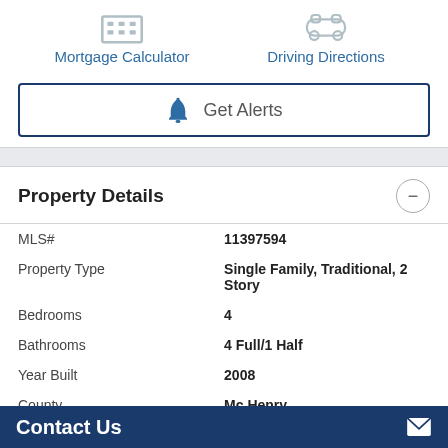Mortgage Calculator
Driving Directions
Get Alerts
Property Details
| Field | Value |
| --- | --- |
| MLS# | 11397594 |
| Property Type | Single Family, Traditional, 2 Story |
| Bedrooms | 4 |
| Bathrooms | 4 Full/1 Half |
| Year Built | 2008 |
| County | Mc Henry |
| Lot Size | 0.3461 Acres |
Contact Us